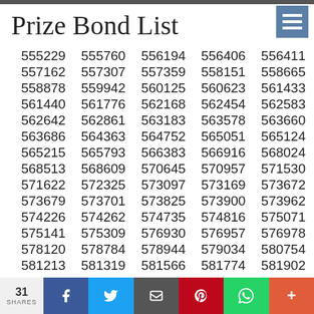Prize Bond List
| 555229 | 555760 | 556194 | 556406 | 556411 |
| 557162 | 557307 | 557359 | 558151 | 558665 |
| 558878 | 559942 | 560125 | 560623 | 561433 |
| 561440 | 561776 | 562168 | 562454 | 562583 |
| 562642 | 562861 | 563183 | 563578 | 563660 |
| 563686 | 564363 | 564752 | 565051 | 565124 |
| 565215 | 565793 | 566383 | 566916 | 568024 |
| 568513 | 568609 | 570645 | 570957 | 571530 |
| 571622 | 572325 | 573097 | 573169 | 573672 |
| 573679 | 573701 | 573825 | 573900 | 573962 |
| 574226 | 574262 | 574735 | 574816 | 575071 |
| 575141 | 575309 | 576930 | 576957 | 576978 |
| 578120 | 578784 | 578944 | 579034 | 580754 |
| 581213 | 581319 | 581566 | 581774 | 581902 |
31 SHARES | Share on Facebook | Share on Twitter | Email | Pinterest | WhatsApp | More